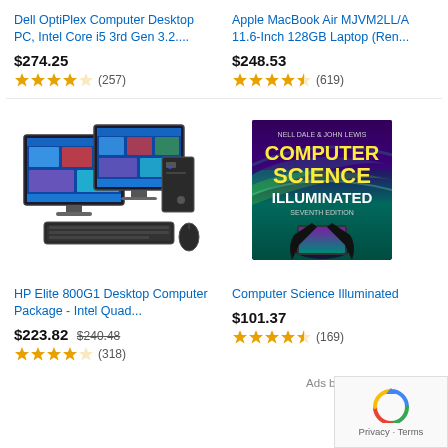Dell OptiPlex Computer Desktop PC, Intel Core i5 3rd Gen 3.2....
Apple MacBook Air MJVM2LL/A 11.6-Inch 128GB Laptop (Ren...
$274.25
★★★★☆ (257)
$248.53
★★★★☆ (619)
[Figure (photo): HP Elite desktop computer with dual monitors and keyboard]
[Figure (photo): Computer Science Illuminated book cover with aurora borealis background]
HP Elite 800G1 Desktop Computer Package - Intel Quad...
Computer Science Illuminated
$223.82 $240.48
★★★★☆ (318)
$101.37
★★★★☆ (169)
Ads by Amazon ▷
[Figure (other): reCAPTCHA widget with Privacy - Terms text]